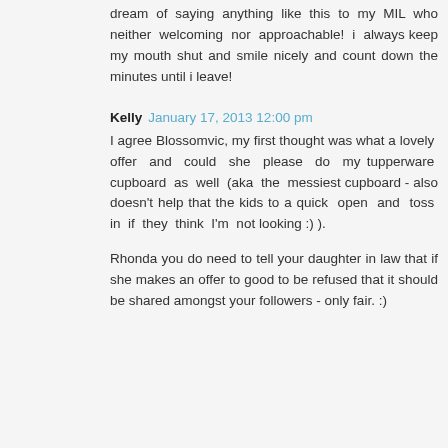dream of saying anything like this to my MIL who neither welcoming nor approachable! i always keep my mouth shut and smile nicely and count down the minutes until i leave!
Kelly January 17, 2013 12:00 pm
I agree Blossomvic, my first thought was what a lovely offer and could she please do my tupperware cupboard as well (aka the messiest cupboard - also doesn't help that the kids to a quick open and toss in if they think I'm not looking :) ).
Rhonda you do need to tell your daughter in law that if she makes an offer to good to be refused that it should be shared amongst your followers - only fair. :)